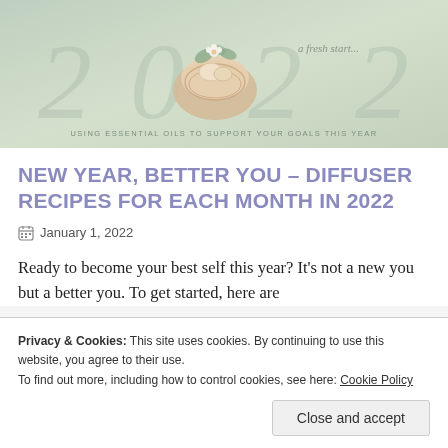[Figure (illustration): Hero banner image with sage green background, decorative '2022' text in light gray script font, a watercolor beige/cream ornament/bird nest decoration in center, floral greenery accents, text 'a fresh start...' in script, and subtitle 'USING ESSENTIAL OILS TO SUPPORT YOUR GOALS THIS YEAR' in small caps.]
NEW YEAR, BETTER YOU – DIFFUSER RECIPES FOR EACH MONTH IN 2022
January 1, 2022
Ready to become your best self this year? It's not a new you but a better you. To get started, here are
Privacy & Cookies: This site uses cookies. By continuing to use this website, you agree to their use.
To find out more, including how to control cookies, see here: Cookie Policy
Close and accept